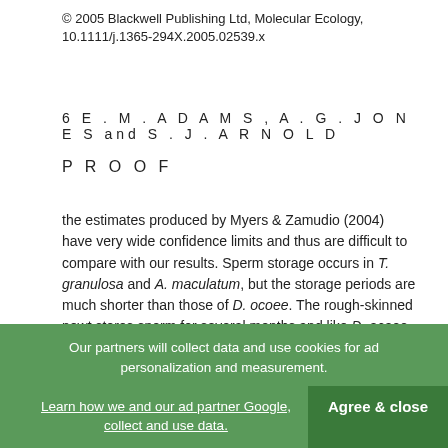© 2005 Blackwell Publishing Ltd, Molecular Ecology, 10.1111/j.1365-294X.2005.02539.x
6 E . M . A D A M S , A . G . J O N E S and S . J . A R N O L D
P R O O F
the estimates produced by Myers & Zamudio (2004) have very wide confidence limits and thus are difficult to compare with our results. Sperm storage occurs in T. granulosa and A. maculatum, but the storage periods are much shorter than those of D. ocoee. The rough-skinned newt stores sperm for several months and like D. ocoee (Sever & Hamlett 1998), appears not to store sperm between breeding seasons. Ambystoma maculatum stores sperm for only a matter of days (Petranka 1998). Thus, among the three species studied to date, an extended period of mating and female sperm storage does not appear to result in additional males siring offspring per clutch. Overall, polyandry seems to be a common occurrence among caudate amphibians, and
Our partners will collect data and use cookies for ad personalization and measurement. Learn how we and our ad partner Google, collect and use data. Agree & close